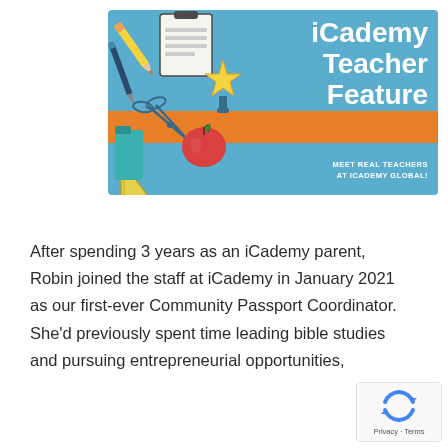[Figure (illustration): iCademy Teacher Feature banner with blue background, school supplies illustration (pencils, scissors, ruler, apple, clipboard, medal), orange stripe, and white bold text reading 'iCademy Teacher Feature' with tagline 'MEET REAL TEACHERS AT ICADEMY GLOBAL!']
After spending 3 years as an iCademy parent, Robin joined the staff at iCademy in January 2021 as our first-ever Community Passport Coordinator. She'd previously spent time leading bible studies and pursuing entrepreneurial opportunities,